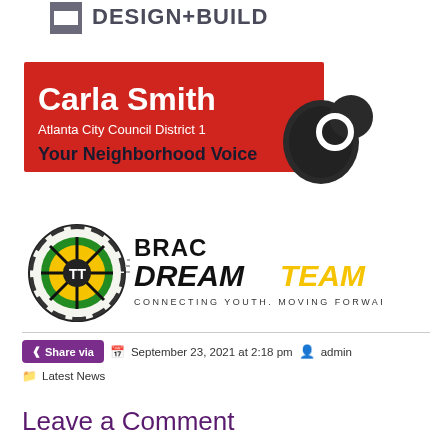[Figure (logo): Design + Build logo with grey square icon and text 'DESIGN+BUILD']
[Figure (logo): Carla Smith Atlanta City Council District 1 banner with red background, white bold text, hand icon with recycle symbol, text 'Your Neighborhood Voice', 'Please Recycle']
[Figure (logo): BRAC Dream Team logo with gear/wheel icon and bold text 'BRAC DREAMTEAM CONNECTING YOUTH. MOVING FORWARD.']
Share via   September 23, 2021 at 2:18 pm   admin   Latest News